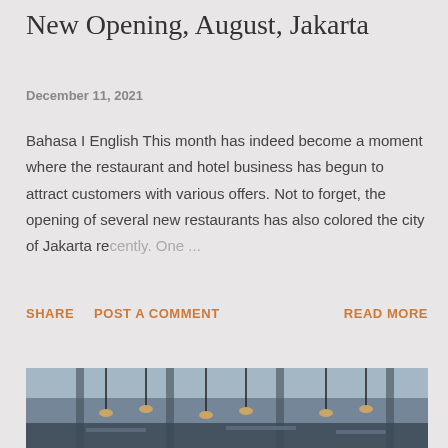New Opening, August, Jakarta
December 11, 2021
Bahasa I English This month has indeed become a moment where the restaurant and hotel business has begun to attract customers with various offers. Not to forget, the opening of several new restaurants has also colored the city of Jakarta recently. One ...
SHARE  POST A COMMENT  READ MORE
[Figure (photo): Interior photo of a restaurant or hotel dining area with pendant lights and modern decor]